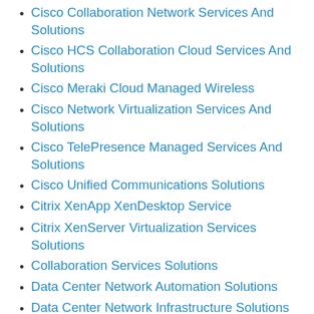Cisco Collaboration Network Services And Solutions
Cisco HCS Collaboration Cloud Services And Solutions
Cisco Meraki Cloud Managed Wireless
Cisco Network Virtualization Services And Solutions
Cisco TelePresence Managed Services And Solutions
Cisco Unified Communications Solutions
Citrix XenApp XenDesktop Service
Citrix XenServer Virtualization Services Solutions
Collaboration Services Solutions
Data Center Network Automation Solutions
Data Center Network Infrastructure Solutions
Data Center Network Optimization Solutions
Data Center Network Services Solutions
Data Center Network Storage Solutions